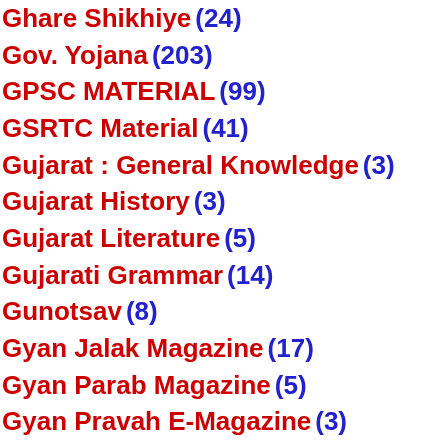Ghare Shikhiye (24)
Gov. Yojana (203)
GPSC MATERIAL (99)
GSRTC Material (41)
Gujarat : General Knowledge (3)
Gujarat History (3)
Gujarat Literature (5)
Gujarati Grammar (14)
Gunotsav (8)
Gyan Jalak Magazine (17)
Gyan Parab Magazine (5)
Gyan Pravah E-Magazine (3)
GyanParab E-Magazine (5)
Hand Mudrao (1)
Health Tips (173)
healthy tips on world cancer day (1)
highest paying jobs in italy 2022 (1)
Home Plan (10)
Horoscope (15)